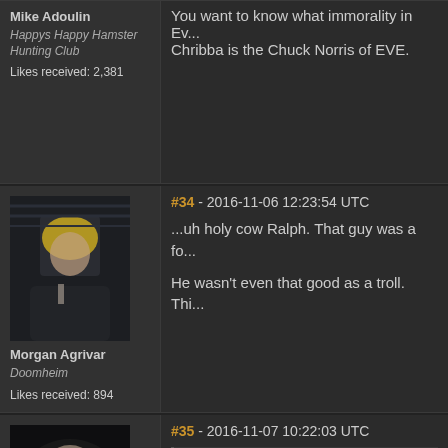Mike Adoulin
Happys Happy Hamster Hunting Club
Likes received: 2,381
You want to know what immorality in Ev... Chribba is the Chuck Norris of EVE.
[Figure (photo): Forum avatar of Morgan Agrivar - blonde woman in dark attire]
Morgan Agrivar
Doomheim
Likes received: 894
#34 - 2016-11-06 12:23:54 UTC
...uh holy cow Ralph. That guy was a fo...
He wasn't even that good as a troll. Thi...
[Figure (photo): Forum avatar of a bald menacing character]
#35 - 2016-11-07 10:22:03 UTC
Morgan Agrivar wrote: ...uh holy cow Ralph. That guy wa... He wasn't even that good as a tro...